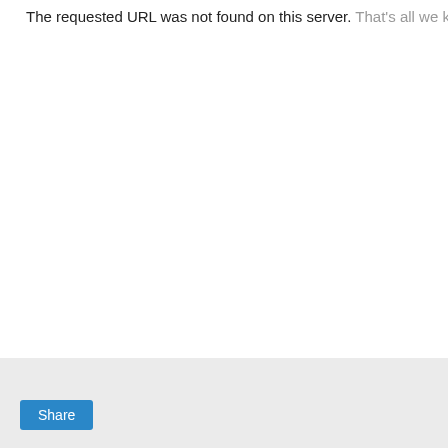The requested URL was not found on this server. That's all we k
Share